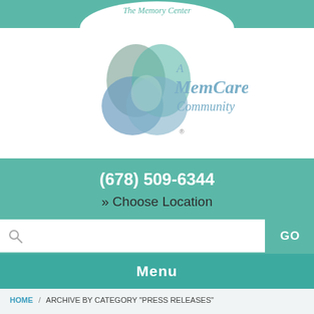[Figure (logo): The Memory Center - A MemCare Community logo with overlapping circles in teal and blue]
(678) 509-6344
» Choose Location
Menu
HOME / ARCHIVE BY CATEGORY "PRESS RELEASES"
Category: Press Releases